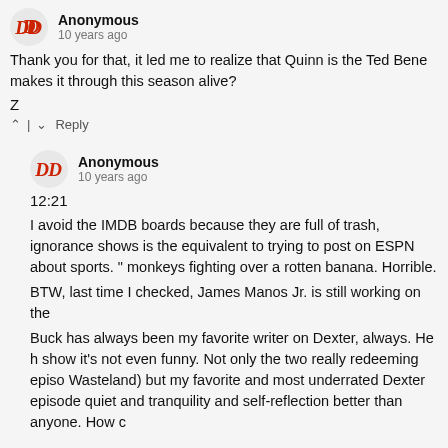Anonymous
10 years ago
Thank you for that, it led me to realize that Quinn is the Ted Bene makes it through this season alive?
Z
^ | v Reply
Anonymous
10 years ago
12:21
I avoid the IMDB boards because they are full of trash, ignorance shows is the equivalent to trying to post on ESPN about sports. " monkeys fighting over a rotten banana. Horrible.
BTW, last time I checked, James Manos Jr. is still working on the
Buck has always been my favorite writer on Dexter, always. He h show it's not even funny. Not only the two really redeeming episo Wasteland) but my favorite and most underrated Dexter episode quiet and tranquility and self-reflection better than anyone. How c